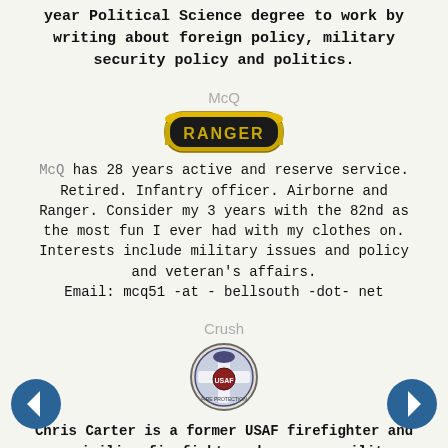year Political Science degree to work by writing about foreign policy, military security policy and politics.
McQ
[Figure (illustration): Ranger tab badge — gold arc with black border, text 'RANGER' in gold letters on black background]
McQ has 28 years active and reserve service. Retired. Infantry officer. Airborne and Ranger. Consider my 3 years with the 82nd as the most fun I ever had with my clothes on. Interests include military issues and policy and veteran's affairs. Email: mcq51 -at - bellsouth -dot- net
Crush
[Figure (illustration): USAF firefighter badge/emblem — circular badge with eagle and firefighter imagery]
Chris Carter is a former USAF firefighter and now civilian firefighter who covers military